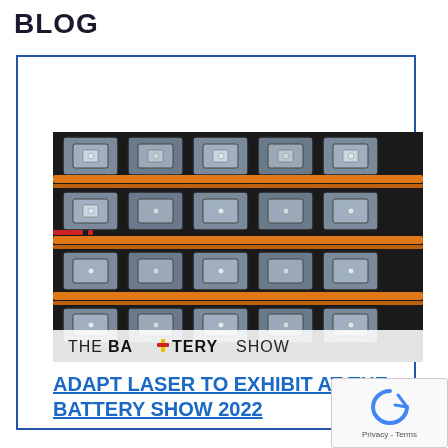BLOG
[Figure (photo): Close-up photo of battery cells with orange and black wiring, with 'THE BATTERY SHOW' logo overlay at the bottom of the image.]
ADAPT LASER TO EXHIBIT AT THE BATTERY SHOW 2022
Rachel    Laser Cleaning    08/16/20